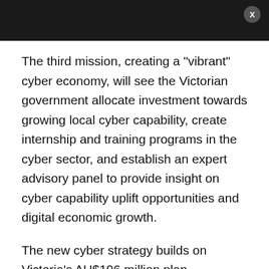The third mission, creating a "vibrant" cyber economy, will see the Victorian government allocate investment towards growing local cyber capability, create internship and training programs in the cyber sector, and establish an expert advisory panel to provide insight on cyber capability uplift opportunities and digital economic growth.
The new cyber strategy builds on Victoria's AU$196 million plan, announced late last year, to centralise and simplify the state's IT services.
Related Coverage